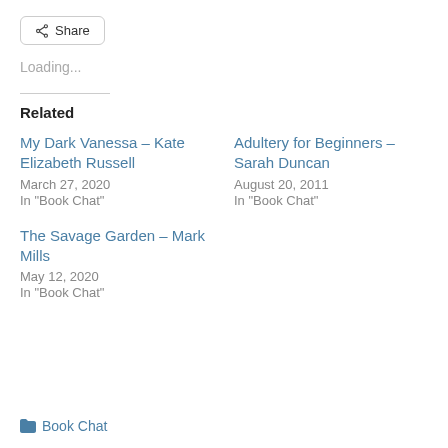Share
Loading...
Related
My Dark Vanessa – Kate Elizabeth Russell
March 27, 2020
In "Book Chat"
Adultery for Beginners – Sarah Duncan
August 20, 2011
In "Book Chat"
The Savage Garden – Mark Mills
May 12, 2020
In "Book Chat"
Book Chat